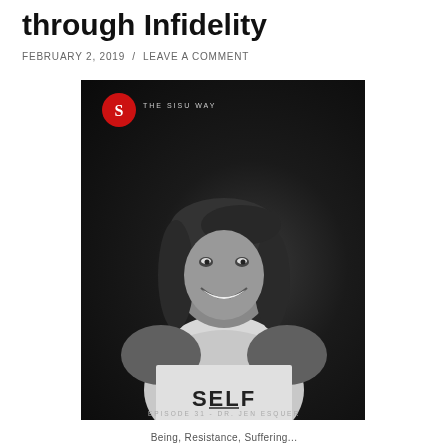through Infidelity
FEBRUARY 2, 2019  /  LEAVE A COMMENT
[Figure (photo): Black and white podcast cover photo for The Sisu Way, Episode 31 with Dr. Jen Esquer. Shows a smiling woman with long dark hair wearing a white tank top with 'SELF' printed on it. The Sisu Way logo appears in the top left corner with a red circular S emblem.]
Being, Resistance, Suffering...